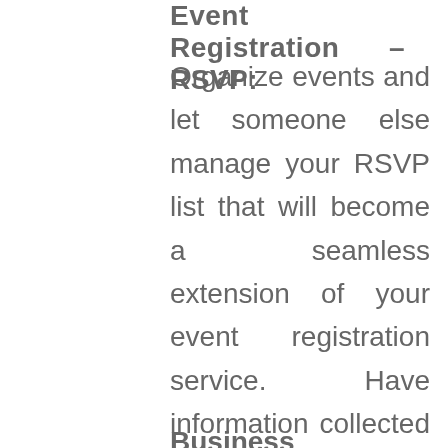Event Registration – RSVP:
Organize events and let someone else manage your RSVP list that will become a seamless extension of your event registration service. Have information collected and updates, guest registration, logistical updates, and more. What better way to increase your production and lower your overhead.
[Figure (other): A blue rounded rectangle button with the text READ MORE in white bold uppercase letters]
Business Answering Services: An